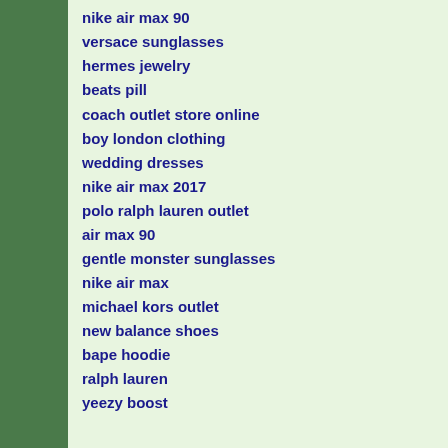nike air max 90
versace sunglasses
hermes jewelry
beats pill
coach outlet store online
boy london clothing
wedding dresses
nike air max 2017
polo ralph lauren outlet
air max 90
gentle monster sunglasses
nike air max
michael kors outlet
new balance shoes
bape hoodie
ralph lauren
yeezy boost